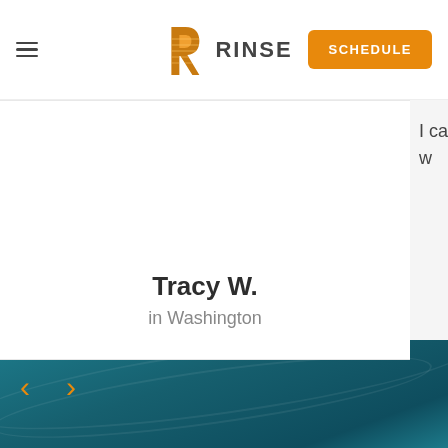[Figure (screenshot): Rinse website screenshot showing navigation bar with hamburger menu, Rinse logo, and Schedule button]
Tracy W.
in Washington
[Figure (infographic): Left and right navigation arrows in orange for testimonial carousel]